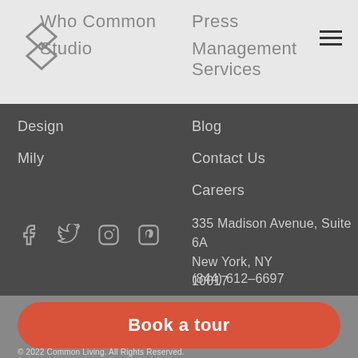WhoCommon Studio | Press | Management Services
Design
Mily
Blog
Contact Us
Careers
[Figure (other): Social media icons: Facebook, Twitter, Instagram, Pinterest]
335 Madison Avenue, Suite 6A
New York, NY
10017
(844) 612-6697
Book a tour
© 2022 Common Living. All Rights Reserved.